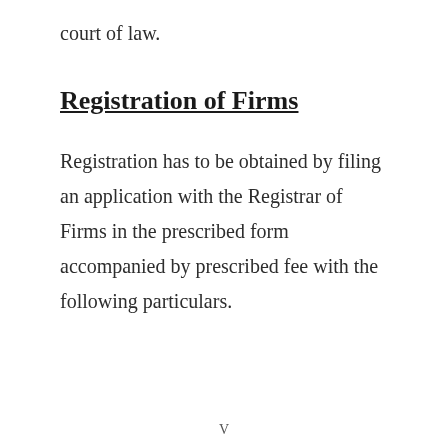court of law.
Registration of Firms
Registration has to be obtained by filing an application with the Registrar of Firms in the prescribed form accompanied by prescribed fee with the following particulars.
V